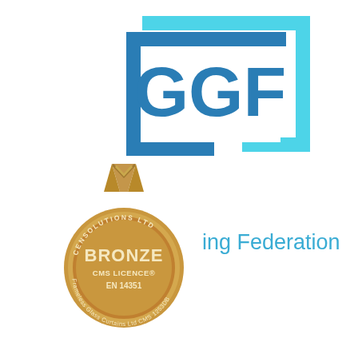[Figure (logo): GGF (Glass and Glazing Federation) logo: large bold letters GGF in blue with decorative square bracket frame in blue and cyan]
[Figure (logo): Censolutions Ltd Bronze CMS Licence EN 14351 medal badge for Frameless Glass Curtains Ltd CMS 1253DB]
ing Federation